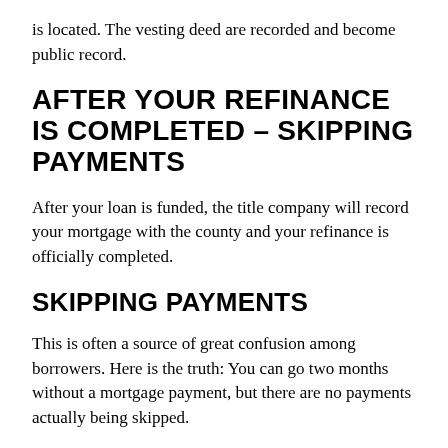is located. The vesting deed are recorded and become public record.
AFTER YOUR REFINANCE IS COMPLETED – SKIPPING PAYMENTS
After your loan is funded, the title company will record your mortgage with the county and your refinance is officially completed.
SKIPPING PAYMENTS
This is often a source of great confusion among borrowers. Here is the truth: You can go two months without a mortgage payment, but there are no payments actually being skipped.